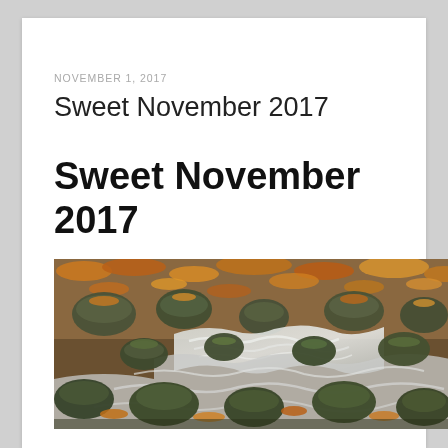NOVEMBER 1, 2017
Sweet November 2017
Sweet November 2017
[Figure (photo): Autumn scene of a rocky stream with moss-covered stones and fallen orange and yellow leaves, with milky flowing water between the rocks.]